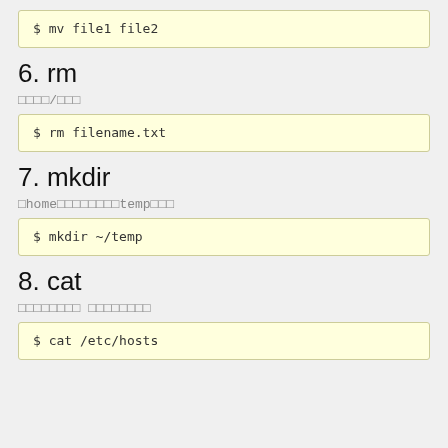$ mv file1 file2
6. rm
□□□□/□□□
$ rm filename.txt
7. mkdir
□home□□□□□□□□temp□□□
$ mkdir ~/temp
8. cat
□□□□□□□□ □□□□□□□□
$ cat /etc/hosts